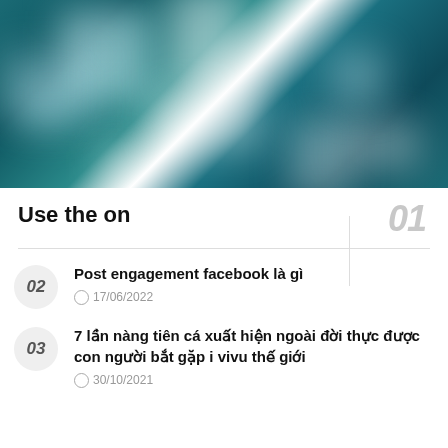[Figure (photo): Abstract blurred teal and white geometric shapes forming a cross-like pattern on a dark teal/blue background]
Use the on
01
Post engagement facebook là gì
17/06/2022
7 lần nàng tiên cá xuất hiện ngoài đời thực được con người bắt gặp i vivu thế giới
30/10/2021